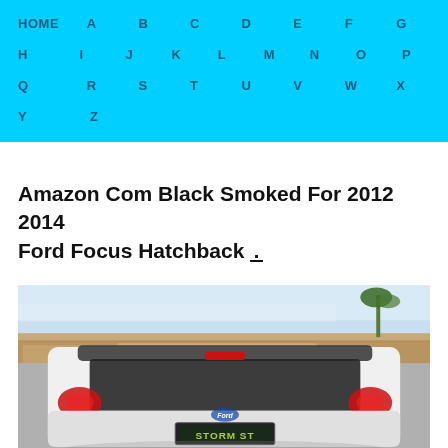HOME A B C D E F G H I J K L M N O P Q R S T U V W X Y Z
Amazon Com Black Smoked For 2012 2014 Ford Focus Hatchback .
[Figure (photo): Rear view of a white Ford Focus hatchback with a smoked rear window/roof spoiler, red tail lights, and a license plate reading STORM ST, parked in a lot with a building and palm tree visible in the background.]